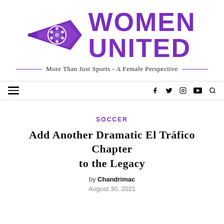[Figure (logo): Women United logo with purple pen/football icon on the left and large purple bold text WOMEN UNITED on the right]
More Than Just Sports - A Female Perspective
Navigation bar with hamburger menu and social icons: f, twitter, instagram, youtube, search
SOCCER
Add Another Dramatic El Tráfico Chapter to the Legacy
by Chandrimac
August 30, 2021